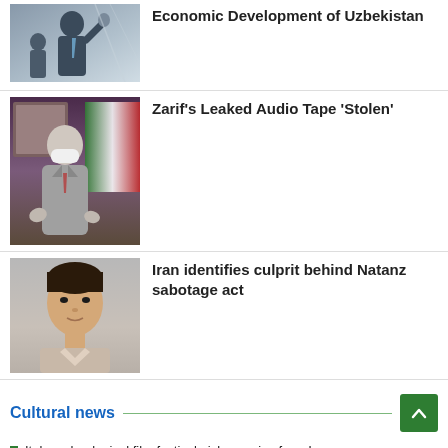[Figure (photo): Person in suit raising hand, another person beside them]
Economic Development of Uzbekistan
[Figure (photo): Man wearing mask speaking at podium with Iranian flag in background]
Zarif’s Leaked Audio Tape ‘Stolen’
[Figure (photo): Young man portrait on gray background]
Iran identifies culprit behind Natanz sabotage act
Cultural news
Italy archeological film festival picks movies from Iran